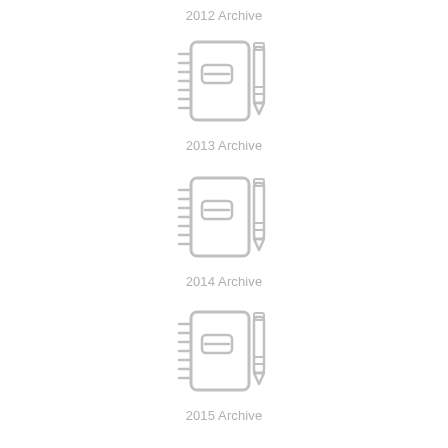2012 Archive
[Figure (illustration): Icon of a spiral notebook with a pencil, grey outline style]
2013 Archive
[Figure (illustration): Icon of a spiral notebook with a pencil, grey outline style]
2014 Archive
[Figure (illustration): Icon of a spiral notebook with a pencil, grey outline style]
2015 Archive